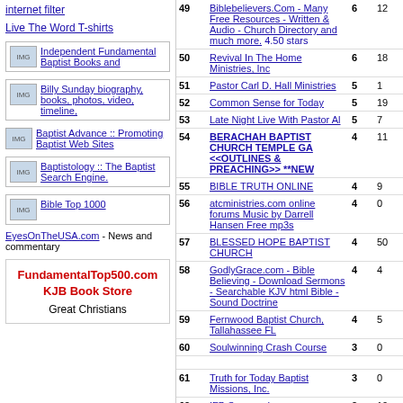internet filter
Live The Word T-shirts
[Figure (other): Independent Fundamental Baptist Books and (thumbnail image link)]
[Figure (other): Billy Sunday biography, books, photos, video, timeline, (thumbnail image link)]
[Figure (other): Baptist Advance :: Promoting Baptist Web Sites (thumbnail image link)]
[Figure (other): Baptistology :: The Baptist Search Engine. (thumbnail image link)]
[Figure (other): Bible Top 1000 (thumbnail image link)]
EyesOnTheUSA.com - News and commentary
FundamentalTop500.com KJB Book Store Great Christians
| # | Site | In | Out |
| --- | --- | --- | --- |
| 49 | Biblebelievers.Com - Many Free Resources - Written & Audio - Church Directory and much more. 4.50 stars | 6 | 12 |
| 50 | Revival In The Home Ministries, Inc | 6 | 18 |
| 51 | Pastor Carl D. Hall Ministries | 5 | 1 |
| 52 | Common Sense for Today | 5 | 19 |
| 53 | Late Night Live With Pastor Al | 5 | 7 |
| 54 | BERACHAH BAPTIST CHURCH TEMPLE GA <<OUTLINES & PREACHING>> **NEW | 4 | 11 |
| 55 | BIBLE TRUTH ONLINE | 4 | 9 |
| 56 | atcministries.com online forums Music by Darrell Hansen Free mp3s | 4 | 0 |
| 57 | BLESSED HOPE BAPTIST CHURCH | 4 | 50 |
| 58 | GodlyGrace.com - Bible Believing - Download Sermons - Searchable KJV html Bible - Sound Doctrine | 4 | 4 |
| 59 | Fernwood Baptist Church, Tallahassee FL | 4 | 5 |
| 60 | Soulwinning Crash Course | 3 | 0 |
| 61 | Truth for Today Baptist Missions, Inc. | 3 | 0 |
| 62 | IFB Sermons! | 3 | 10 |
| 63 | III Soul Winning and Warning at Public Events | 3 | 2 |